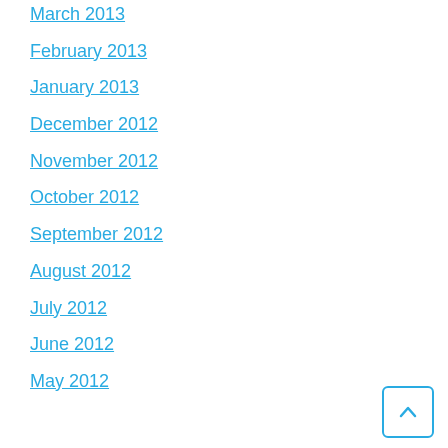March 2013
February 2013
January 2013
December 2012
November 2012
October 2012
September 2012
August 2012
July 2012
June 2012
May 2012